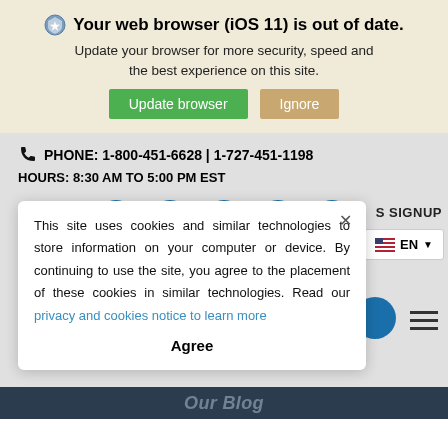Your web browser (iOS 11) is out of date. Update your browser for more security, speed and the best experience on this site. Update browser | Ignore
PHONE: 1-800-451-6628 | 1-727-451-1198
HOURS: 8:30 AM TO 5:00 PM EST
[Figure (infographic): Social media icons: Instagram, YouTube, Facebook, Twitter, LinkedIn as blue circles]
This site uses cookies and similar technologies to store information on your computer or device. By continuing to use the site, you agree to the placement of these cookies in similar technologies. Read our privacy and cookies notice to learn more
Agree
S SIGNUP
EN
Our Blog